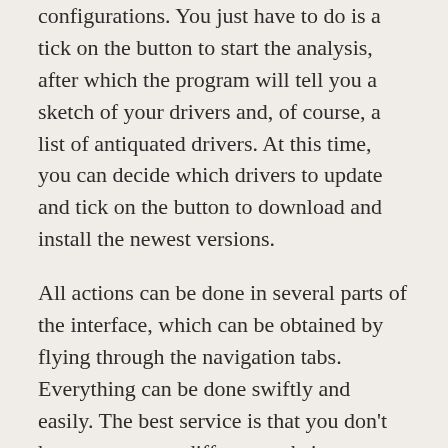configurations. You just have to do is a tick on the button to start the analysis, after which the program will tell you a sketch of your drivers and, of course, a list of antiquated drivers. At this time, you can decide which drivers to update and tick on the button to download and install the newest versions.
All actions can be done in several parts of the interface, which can be obtained by flying through the navigation tabs. Everything can be done swiftly and easily. The best service is that you don't have to move to different websites to search for drivers. The software can look at them for you without asking too much useful data. In addition, Avast Driver Updater Key can be configured to update your drivers on a scheduled basis automatically. In addition to renewing the drivers, the software can make a reserve of the drivers. This is particularly useful if you intend to